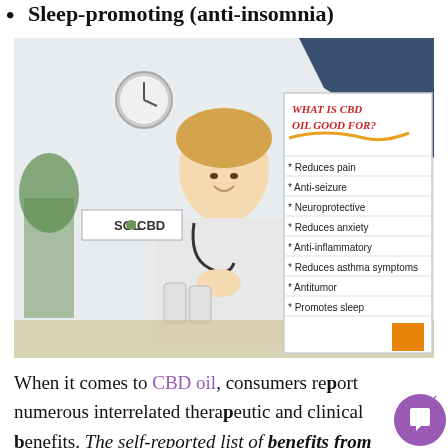Sleep-promoting (anti-insomnia)
[Figure (photo): Photo of a female doctor in white coat with stethoscope, smiling, with CBD wooden letter blocks and bottles on desk. SOL CBD logo visible. Overlaid infographic card titled 'What Is CBD Oil Good For?' listing: Reduces pain, Anti-seizure, Neuroprotective, Reduces anxiety, Anti-inflammatory, Reduces asthma symptoms, Antitumor, Promotes sleep.]
When it comes to CBD oil, consumers report numerous interrelated therapeutic and clinical benefits. The self-reported list of benefits from using CBD oil is extensive and substantial. Generally, there are three primary categories of benefits most often reported by consumers: reduction, anxiety reduction, and sleep